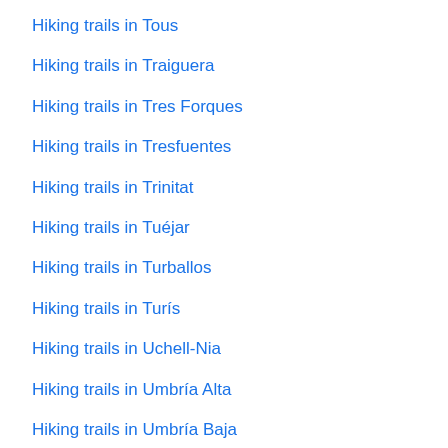Hiking trails in Tous
Hiking trails in Traiguera
Hiking trails in Tres Forques
Hiking trails in Tresfuentes
Hiking trails in Trinitat
Hiking trails in Tuéjar
Hiking trails in Turballos
Hiking trails in Turís
Hiking trails in Uchell-Nia
Hiking trails in Umbría Alta
Hiking trails in Umbría Baja
Hiking trails in Urb Entre Naranjas
Hiking trails in Urb Jardin Del Mar Fase V
Hiking trails in Urb Jardin Del Mar Fase V